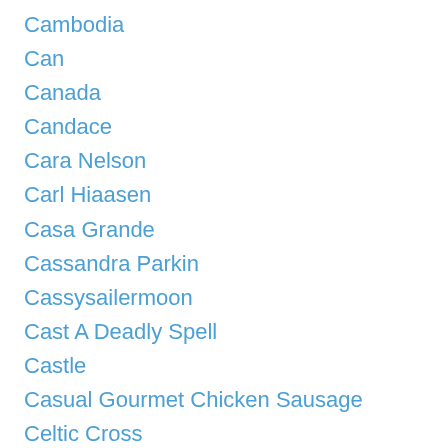Cambodia
Can
Canada
Candace
Cara Nelson
Carl Hiaasen
Casa Grande
Cassandra Parkin
Cassysailermoon
Cast A Deadly Spell
Castle
Casual Gourmet Chicken Sausage
Celtic Cross
Census Bureau
Ceromancy
Chanel
Chicken Soup For The Soul
CHINYA Electric Kettle
CHINYA Store
Chocolate Chunk Peppermint Loaf